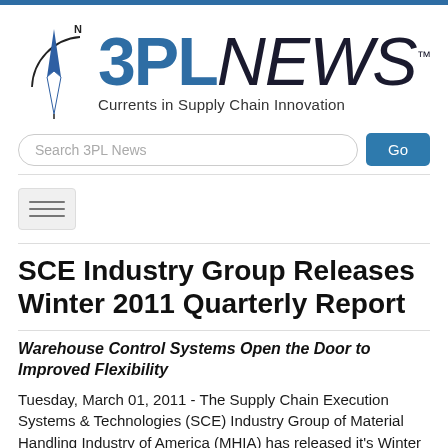[Figure (logo): 3PL NEWS logo with compass rose graphic and tagline 'Currents in Supply Chain Innovation']
SCE Industry Group Releases Winter 2011 Quarterly Report
Warehouse Control Systems Open the Door to Improved Flexibility
Tuesday, March 01, 2011 - The Supply Chain Execution Systems & Technologies (SCE) Industry Group of Material Handling Industry of America (MHIA) has released it's Winter 2011 Quarterly Report titled